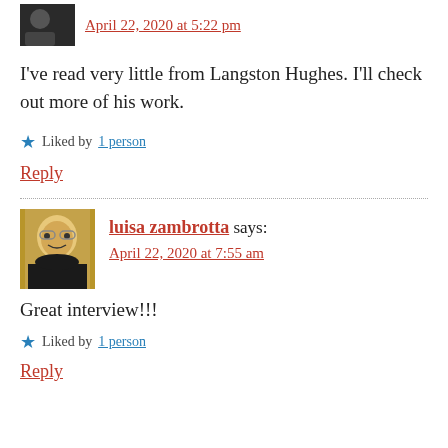April 22, 2020 at 5:22 pm
I've read very little from Langston Hughes. I'll check out more of his work.
Liked by 1 person
Reply
luisa zambrotta says:
April 22, 2020 at 7:55 am
Great interview!!!
Liked by 1 person
Reply